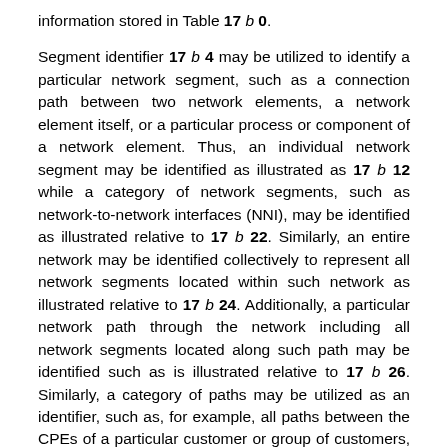information stored in Table 17 b 0.
Segment identifier 17 b 4 may be utilized to identify a particular network segment, such as a connection path between two network elements, a network element itself, or a particular process or component of a network element. Thus, an individual network segment may be identified as illustrated as 17 b 12 while a category of network segments, such as network-to-network interfaces (NNI), may be identified as illustrated relative to 17 b 22. Similarly, an entire network may be identified collectively to represent all network segments located within such network as illustrated relative to 17 b 24. Additionally, a particular network path through the network including all network segments located along such path may be identified such as is illustrated relative to 17 b 26. Similarly, a category of paths may be utilized as an identifier, such as, for example, all paths between the CPEs of a particular customer or group of customers, may be identified as illustrated relative to 17 b 28. Likewise, portions of paths including perhaps only those network segments between a customer's CPE and a network access point may be identified to give the customer or a network provider